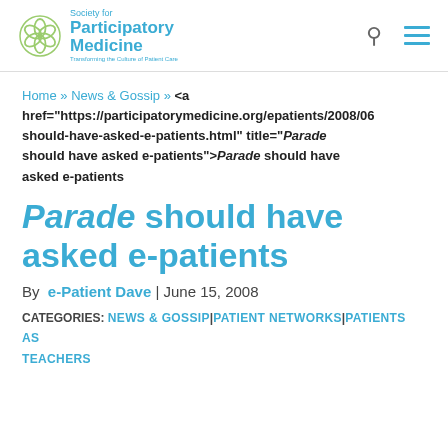[Figure (logo): Society for Participatory Medicine logo — circular green/teal flower-like icon with text 'Society for Participatory Medicine — Transforming the Culture of Patient Care']
Society for Participatory Medicine — Transforming the Culture of Patient Care
Home » News & Gossip » <a href="https://participatorymedicine.org/epatients/2008/06/should-have-asked-e-patients.html" title="Parade should have asked e-patients">Parade should have asked e-patients
Parade should have asked e-patients
By e-Patient Dave | June 15, 2008
CATEGORIES: NEWS & GOSSIP | PATIENT NETWORKS | PATIENTS AS TEACHERS